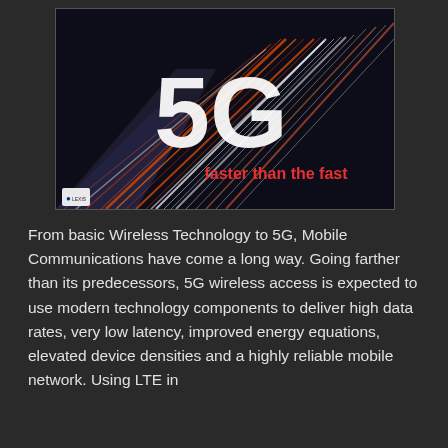[Figure (photo): Night highway with light trails and large white '5G' text overlay, with red text 'faster than the fast' below it. Small logo in bottom-left corner.]
From basic Wireless Technology to 5G, Mobile Communications have come a long way. Going farther than its predecessors, 5G wireless access is expected to use modern technology components to deliver high data rates, very low latency, improved energy equations, elevated device densities and a highly reliable mobile network. Using LTE in